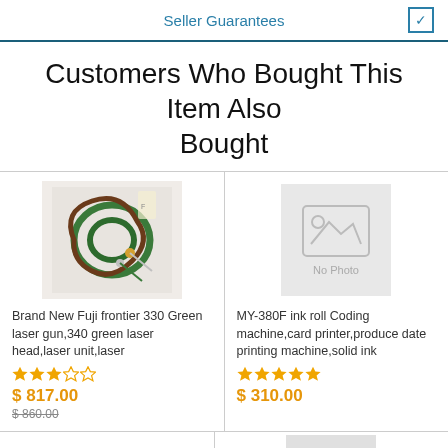Seller Guarantees
Customers Who Bought This Item Also Bought
[Figure (photo): Product photo of green laser cables/wires bundled together on white surface]
Brand New Fuji frontier 330 Green laser gun,340 green laser head,laser unit,laser
★★★☆☆
$ 817.00
$ 860.00
[Figure (photo): No Photo placeholder image]
MY-380F ink roll Coding machine,card printer,produce date printing machine,solid ink
★★★★★
$ 310.00